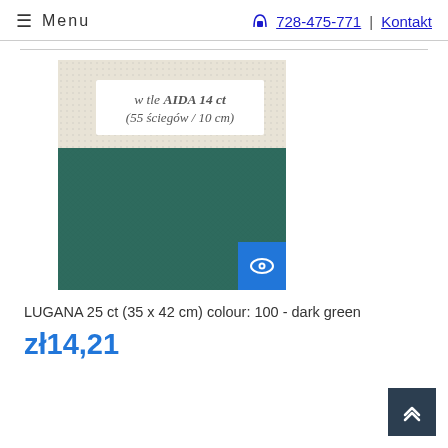≡ Menu  728-475-771 | Kontakt
[Figure (photo): Dark green LUGANA cross-stitch fabric with a label showing 'w tle AIDA 14 ct (55 ściegów / 10 cm)'. A blue eye/view icon button is in the bottom-right corner of the image.]
LUGANA 25 ct (35 x 42 cm) colour: 100 - dark green
zł14,21